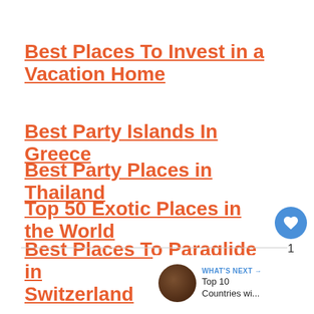Best Places To Invest in a Vacation Home
Best Party Islands In Greece
Best Party Places in Thailand
Top 50 Exotic Places in the World
Best Places To Paraglide in Switzerland
1
WHAT'S NEXT → Top 10 Countries wi...